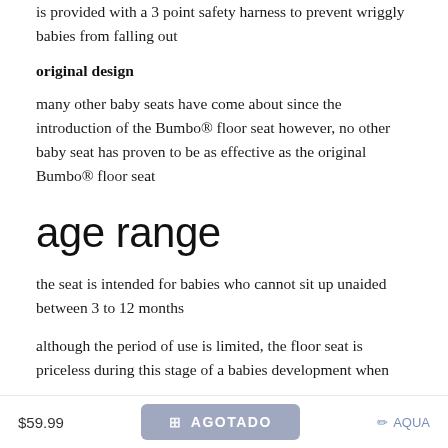is provided with a 3 point safety harness to prevent wriggly babies from falling out
original design
many other baby seats have come about since the introduction of the Bumbo® floor seat however, no other baby seat has proven to be as effective as the original Bumbo® floor seat
age range
the seat is intended for babies who cannot sit up unaided between 3 to 12 months
although the period of use is limited, the floor seat is priceless during this stage of a babies development when
$59.99  AGOTADO  AQUA